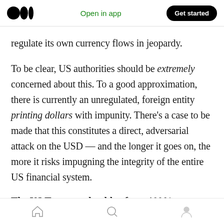Open in app | Get started
regulate its own currency flows in jeopardy.
To be clear, US authorities should be extremely concerned about this. To a good approximation, there is currently an unregulated, foreign entity printing dollars with impunity. There’s a case to be made that this constitutes a direct, adversarial attack on the USD — and the longer it goes on, the more it risks impugning the integrity of the entire US financial system.
The US Treasury should enforce 100% reserve requirements on all USD-pegged crypto